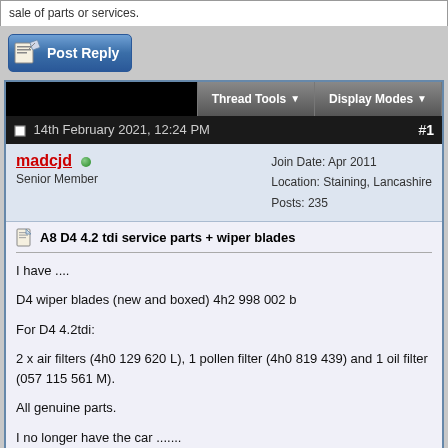sale of parts or services.
[Figure (screenshot): Post Reply button with pencil/paper icon]
Thread Tools ▼   Display Modes ▼
14th February 2021, 12:24 PM  #1
madcjd  Senior Member  Join Date: Apr 2011  Location: Staining, Lancashire  Posts: 235
A8 D4 4.2 tdi service parts + wiper blades
I have ....

D4 wiper blades (new and boxed) 4h2 998 002 b

For D4 4.2tdi:

2 x air filters (4h0 129 620 L), 1 pollen filter (4h0 819 439) and 1 oil filter (057 115 561 M).

All genuine parts.

I no longer have the car .......

May split the parts....

Looking for £130 plus approx £10 delivery.